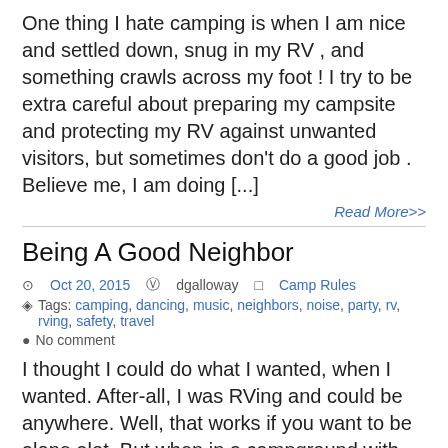One thing I hate camping is when I am nice and settled down, snug in my RV , and something crawls across my foot ! I try to be extra careful about preparing my campsite and protecting my RV against unwanted visitors, but sometimes don't do a good job . Believe me, I am doing [...]
Read More>>
Being A Good Neighbor
Oct 20, 2015   dgalloway   Camp Rules
Tags: camping, dancing, music, neighbors, noise, party, rv, rving, safety, travel
No comment
I thought I could do what I wanted, when I wanted. After-all, I was RVing and could be anywhere. Well, that works if you want to be alone alot. But when in a campground with